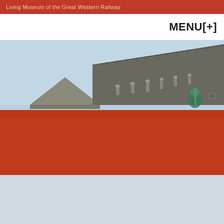Living Museum of the Great Western Railway
MENU[+]
[Figure (photo): Aerial/angled view of industrial rooftops with grey slate roofs, ventilation pipes, and a green copper dome element against a light blue sky. The lower half of the image is overlaid with a large solid burnt-orange/terracotta red rectangle.]